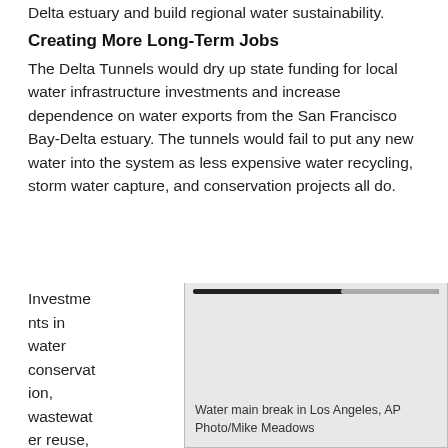Delta estuary and build regional water sustainability.
Creating More Long-Term Jobs
The Delta Tunnels would dry up state funding for local water infrastructure investments and increase dependence on water exports from the San Francisco Bay-Delta estuary. The tunnels would fail to put any new water into the system as less expensive water recycling, storm water capture, and conservation projects all do.
Investments in water conservation, wastewater reuse, groundwa...
[Figure (photo): Photo of a water main break in Los Angeles with a scrollbar visible at the top of the image area. Image placeholder shown in gray.]
Water main break in Los Angeles, AP Photo/Mike Meadows